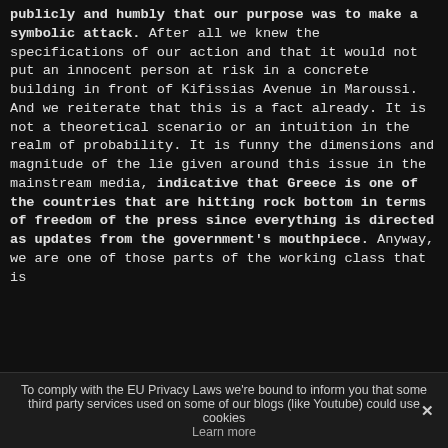publicly and humbly that our purpose was to make a symbolic attack. After all we knew the specifications of our action and that it would not put an innocent person at risk in a concrete building in front of Kifissias Avenue in Maroussi. And we reiterate that this is a fact already. It is not a theoretical scenario or an intuition in the realm of probability. It is funny the dimensions and magnitude of the lie given around this issue in the mainstream media, indicative that Greece is one of the countries that are hitting rock bottom in terms of freedom of the press since everything is directed as updates from the government's mouthpiece. Anyway, we are one of those parts of the working class that is
To comply with the EU Privacy Laws we're bound to inform you that some third party services used on some of our blogs (like Youtube) could use cookies Learn more ✕